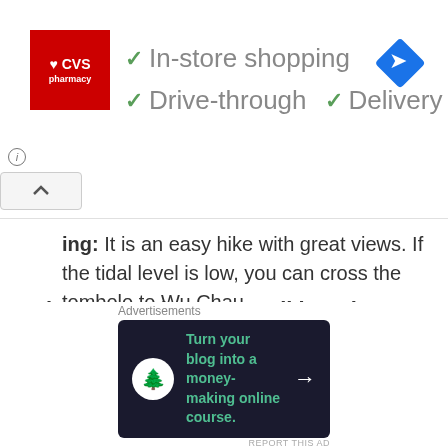[Figure (screenshot): CVS Pharmacy advertisement banner showing checkmarks for In-store shopping, Drive-through, and Delivery options, with a navigation arrow icon on the right.]
ing: It is an easy hike with great views. If the tidal level is low, you can cross the tombolo to Wu Chau.
Distance and Average Hiking Time: 7.04km, around three and a half hours
[Figure (screenshot): WordPress advertisement: 'Need a website quickly – and on a budget?' with WordPress logo on beige background.]
** Point to note: Please check the Tai Po Kau predicted
[Figure (screenshot): Advertisement: 'Turn your blog into a money-making online course.' with an arrow on dark background.]